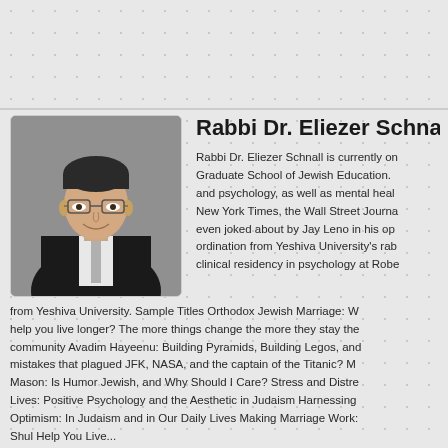[Figure (photo): Headshot of Rabbi Dr. Eliezer Schnall, a young man in a dark suit and tie with glasses, smiling]
Rabbi Dr. Eliezer Schna...
Rabbi Dr. Eliezer Schnall is currently on... Graduate School of Jewish Education. ...and psychology, as well as mental hea... New York Times, the Wall Street Journa... even joked about by Jay Leno in his op... ordination from Yeshiva University's rab... clinical residency in psychology at Robe... from Yeshiva University. Sample Titles Orthodox Jewish Marriage: W... help you live longer? The more things change the more they stay the... community Avadim Hayeenu: Building Pyramids, Building Legos, and... mistakes that plagued JFK, NASA, and the captain of the Titanic? M... Mason: Is Humor Jewish, and Why Should I Care? Stress and Distre... Lives: Positive Psychology and the Aesthetic in Judaism Harnessing... Optimism: In Judaism and in Our Daily Lives Making Marriage Work:... Shul Help You Live...